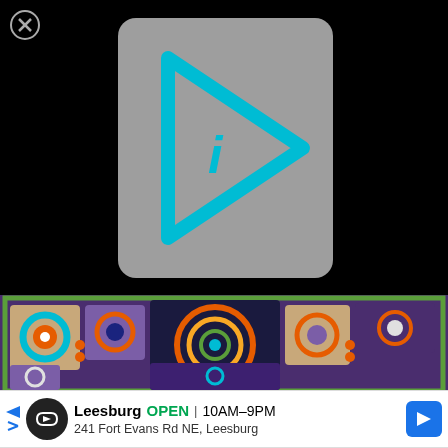[Figure (screenshot): Black background with a gray and cyan play button / info icon overlay in the upper center portion of a video player UI]
[Figure (photo): Colorful crochet blanket with concentric circle and square granny square motifs in purple, teal, orange, red, green, and cream colors]
[Figure (screenshot): Advertisement banner showing Leesburg store with green OPEN label, hours 10AM-9PM, address 241 Fort Evans Rd NE Leesburg, with circular logo and blue navigation arrow icon]